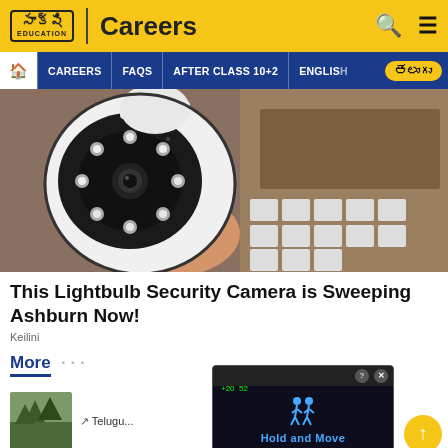సాక్షి EDUCATION | Careers
[Figure (screenshot): Navigation bar with home icon, CAREERS, FAQS, AFTER CLASS 10+2, ENGLISH menu items and Telugu language button on blue background]
[Figure (photo): A hand holding a white dome-shaped security camera with visible LED lights and lens, with cardboard boxes in the background]
This Lightbulb Security Camera is Sweeping Ashburn Now!
Keilini
More
[Figure (screenshot): Bottom partial view showing a thumbnail image on the left and a floating video advertisement overlay showing 'Hold and Move' with dark background and question/close buttons]